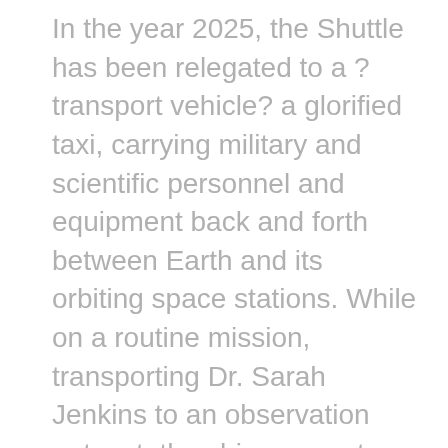In the year 2025, the Shuttle has been relegated to a ? transport vehicle? a glorified taxi, carrying military and scientific personnel and equipment back and forth between Earth and its orbiting space stations. While on a routine mission, transporting Dr. Sarah Jenkins to an observation outpost, the ship encounters two flashing bursts of light. They shutdown its instrumentation and leave it powerless, adrift in space. The crew attempts to repair the damage, when suddenly there is a third blinding flash of light?The entire crew disappears from the ship, except for Travis Black, the rookie Tech Officer. Captain Richard Castle and the rest of the crew find themselves in the middle of a barren. They have no idea where they are. For more information on Atlantis Down visit: http://www.atlantisdown.com/la_premiere.htm for more information on the Los Angeles Italia 2011 Film Festival, visit http://www.losangelesitalia.com. For video interview coverage of this event, please visit the Red Carpet Report on Mingle Media TV at